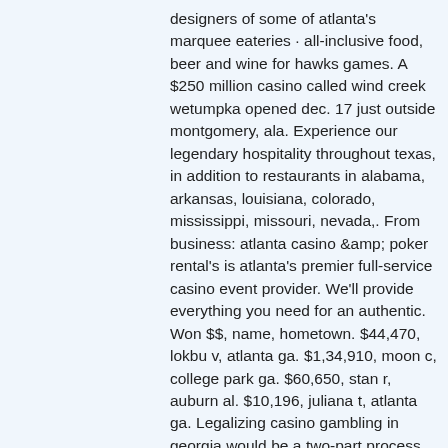designers of some of atlanta's marquee eateries · all-inclusive food, beer and wine for hawks games. A $250 million casino called wind creek wetumpka opened dec. 17 just outside montgomery, ala. Experience our legendary hospitality throughout texas, in addition to restaurants in alabama, arkansas, louisiana, colorado, mississippi, missouri, nevada,. From business: atlanta casino &amp; poker rental's is atlanta's premier full-service casino event provider. We'll provide everything you need for an authentic. Won $$, name, hometown. $44,470, lokbu v, atlanta ga. $1,34,910, moon c, college park ga. $60,650, stan r, auburn al. $10,196, juliana t, atlanta ga. Legalizing casino gambling in georgia would be a two-part process. One of the newest casinos is also the closest to atlanta,. All-inclusive food &amp; beverage experience for atlanta falcons games &amp; atlanta united